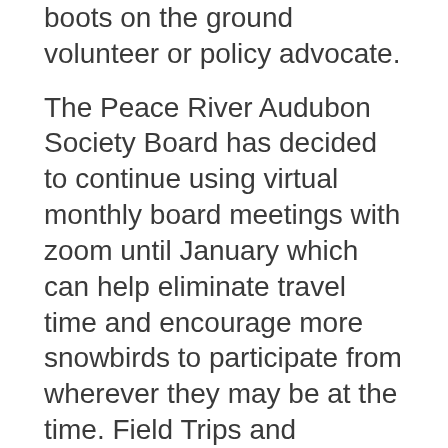boots on the ground volunteer or policy advocate.
The Peace River Audubon Society Board has decided to continue using virtual monthly board meetings with zoom until January which can help eliminate travel time and encourage more snowbirds to participate from wherever they may be at the time. Field Trips and Walkabouts have resumed following Covid outdoor recreational social distancing recommendations. Regular member monthly meetings with educational speakers are scheduled through zoom until January. Hopefully, pandemic conditions will allow safer in-person indoor gatherings by then. We are looking forward to getting back to normal for the 2022 year! We have secured the First Alliance Church as a general meeting place for our monthly meetings.